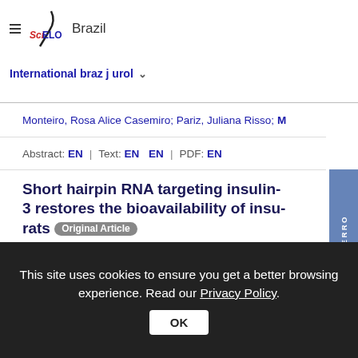[Figure (logo): SciELO Brazil logo with stylized '/' and text 'SciELO Brazil']
International braz j urol ˅
Monteiro, Rosa Alice Casemiro; Pariz, Juliana Risso; …
Abstract: EN | Text: EN EN | PDF: EN
Short hairpin RNA targeting insulin-3 restores the bioavailability of insu- rats
Original Article
Zhou, Zhang-Yan; Zhong, Guang-Jun; Cheng, S… Liu, Chang-Mao; Xing, Cheng; Sun, Ya-Ling; Liu…
This site uses cookies to ensure you get a better browsing experience. Read our Privacy Policy.
OK